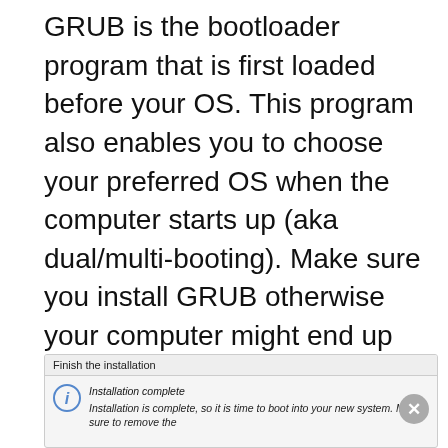GRUB is the bootloader program that is first loaded before your OS. This program also enables you to choose your preferred OS when the computer starts up (aka dual/multi-booting). Make sure you install GRUB otherwise your computer might end up unusable even if Debian is installed on your hard disk.This concludes the last step for installing Debian and soon you'll be prompted to restart your computer to finish its installation.
[Figure (screenshot): Screenshot of a dialog box titled 'Finish the installation' showing an info icon and text: 'Installation complete — Installation is complete, so it is time to boot into your new system. Make sure to remove the' (text cut off), with an X close button.]